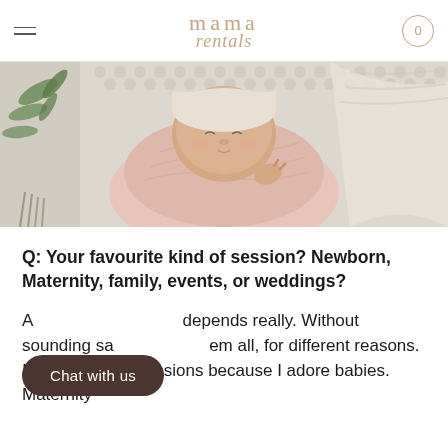mama rentals — navigation with hamburger menu and cart (0)
[Figure (photo): Close-up photo of a sleeping newborn baby swaddled in a soft pink wrap, lying on a white textured knit blanket with a palm tree motif in the background]
Q: Your favourite kind of session? Newborn, Maternity, family, events, or weddings?
A: ...depends really. Without sounding sa... ...em all, for different reasons. I love newborn sessions because I adore babies. Maternity